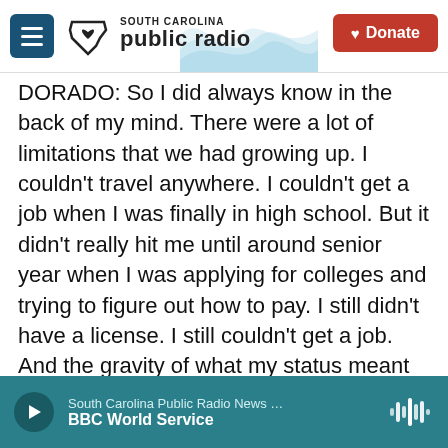South Carolina Public Radio — Donate
DORADO: So I did always know in the back of my mind. There were a lot of limitations that we had growing up. I couldn't travel anywhere. I couldn't get a job when I was finally in high school. But it didn't really hit me until around senior year when I was applying for colleges and trying to figure out how to pay. I still didn't have a license. I still couldn't get a job. And the gravity of what my status meant for me was amplified in that moment.
GARCIA-NAVARRO: You applied for DACA in December, right?
DORADO: Yes.
South Carolina Public Radio News … BBC World Service